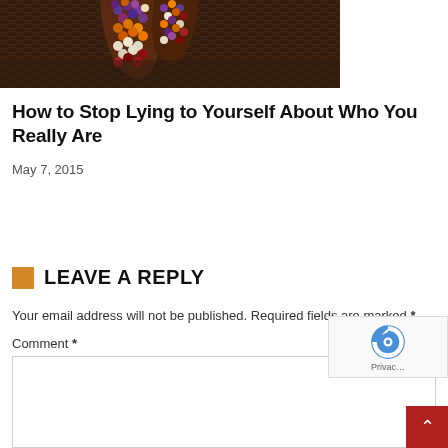[Figure (photo): Close-up photo of colorful Indian corn (ornamental maize) with multicolored kernels in purple, orange, white and red, resting in a dark wicker basket]
How to Stop Lying to Yourself About Who You Really Are
May 7, 2015
Load More Related Articles
LEAVE A REPLY
Your email address will not be published. Required fields are marked *
Comment *